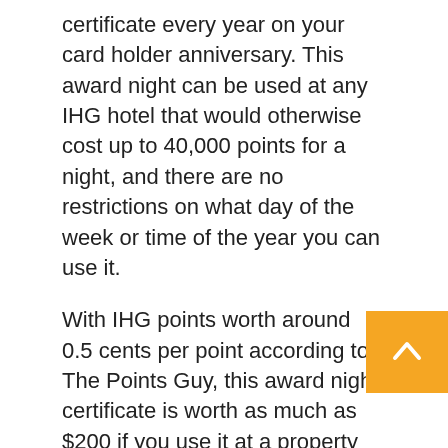certificate every year on your card holder anniversary. This award night can be used at any IHG hotel that would otherwise cost up to 40,000 points for a night, and there are no restrictions on what day of the week or time of the year you can use it.
With IHG points worth around 0.5 cents per point according to The Points Guy, this award night certificate is worth as much as $200 if you use it at a property that would otherwise cost 40,000 points. That can easily offset the card's $89 annual fee each year, and that's before even factoring in the other card benefits.
Get a free annual award night starting with your second year on the IHG Premier card.
Unfortunately, there are no award night certificates